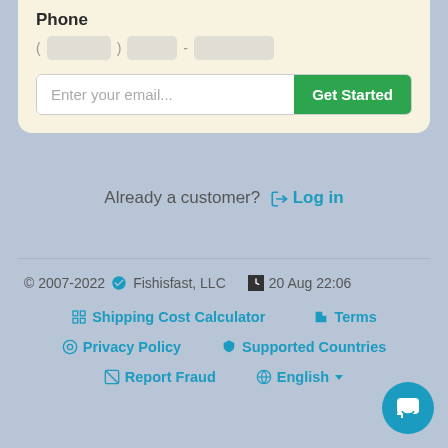Phone
( ░░░░░░ ) ░░░░ - ░░░░░░░
Enter your email...
Get Started
Already a customer? ➨ Log in
© 2007-2022 ☆ Fishisfast, LLC  🕐 20 Aug 22:06  📱 Shipping Cost Calculator  📖 Terms  👁 Privacy Policy  🚩 Supported Countries  🚫 Report Fraud  🌐 English ▼